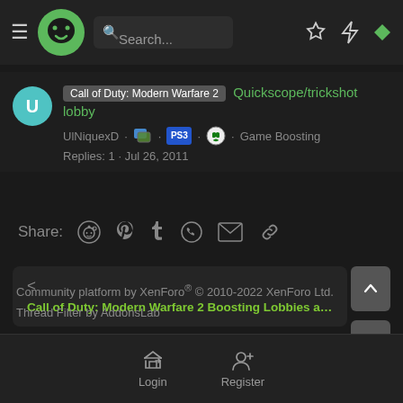[Figure (screenshot): Dark-themed forum website navigation bar with hamburger menu, green monster logo, search bar, star icon, lightning bolt icon, and green diamond icon]
Call of Duty: Modern Warfare 2 Quickscope/trickshot lobby
UlNiquexD · PS3 · Xbox · Game Boosting
Replies: 1 · Jul 26, 2011
Share:
Call of Duty: Modern Warfare 2 Boosting Lobbies and Looking Fo...Ga...
Community platform by XenForo® © 2010-2022 XenForo Ltd.
Thread Filter by AddonsLab
Login
Register